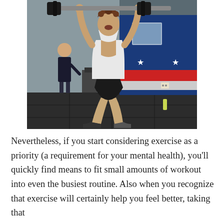[Figure (photo): A young muscular man in a white sleeveless shirt and black shorts performs an overhead barbell lift (snatch or clean and jerk) in a CrossFit-style gym. He is mid-lift with arms fully extended overhead holding a barbell with weights. Another person in a dark shirt is visible in the background. The gym has rubber flooring, gym equipment, and a blue and red wall in the background.]
Nevertheless, if you start considering exercise as a priority (a requirement for your mental health), you'll quickly find means to fit small amounts of workout into even the busiest routine. Also when you recognize that exercise will certainly help you feel better, taking that